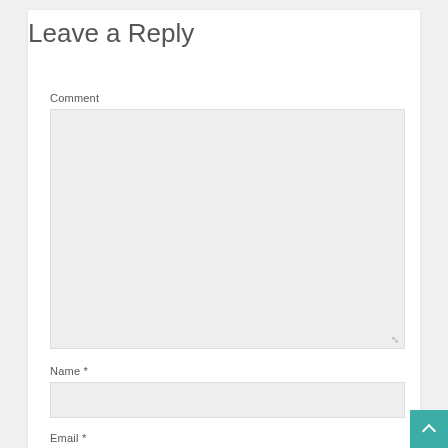Leave a Reply
Comment
[Figure (screenshot): Empty comment textarea input field with light gray background]
Name *
[Figure (screenshot): Empty name text input field with light gray background]
Email *